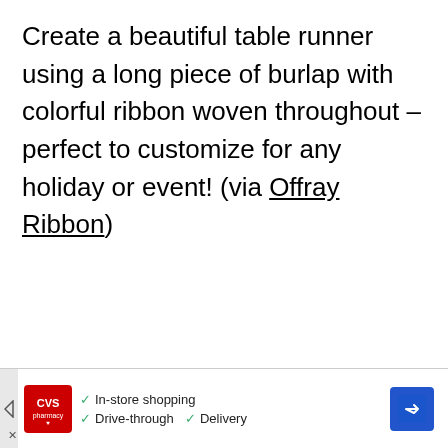Create a beautiful table runner using a long piece of burlap with colorful ribbon woven throughout – perfect to customize for any holiday or event! (via Offray Ribbon)
[Figure (other): CVS Pharmacy advertisement banner showing CVS logo, checkmarks for In-store shopping, Drive-through, and Delivery services, with a navigation/directions icon on the right.]